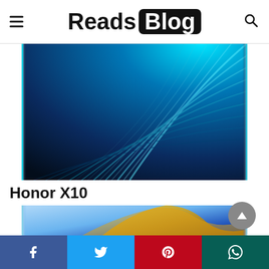Reads Blog
[Figure (photo): Close-up of Honor X10 smartphone showing blue/teal abstract wave wallpaper on screen, silver frame visible on sides]
Honor X10
[Figure (photo): Close-up of a second smartphone showing colorful abstract bird/wave wallpaper in blue, yellow and gold tones, silver frame visible]
Social share bar: Facebook, Twitter, Pinterest, WhatsApp